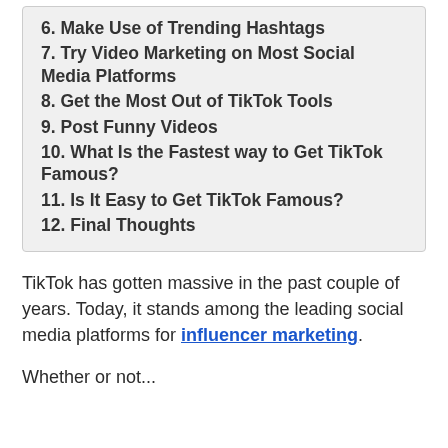6. Make Use of Trending Hashtags
7. Try Video Marketing on Most Social Media Platforms
8. Get the Most Out of TikTok Tools
9. Post Funny Videos
10. What Is the Fastest way to Get TikTok Famous?
11. Is It Easy to Get TikTok Famous?
12. Final Thoughts
TikTok has gotten massive in the past couple of years. Today, it stands among the leading social media platforms for influencer marketing.
Whether or not...